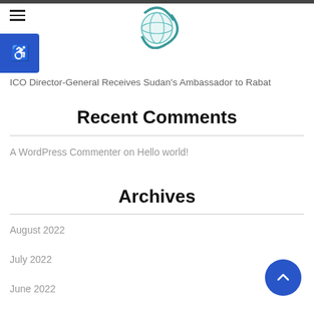[Figure (logo): Globe/sphere logo with teal swirl design, centered at top of page]
ICO Director-General Receives Sudan's Ambassador to Rabat
Recent Comments
A WordPress Commenter on Hello world!
Archives
August 2022
July 2022
June 2022